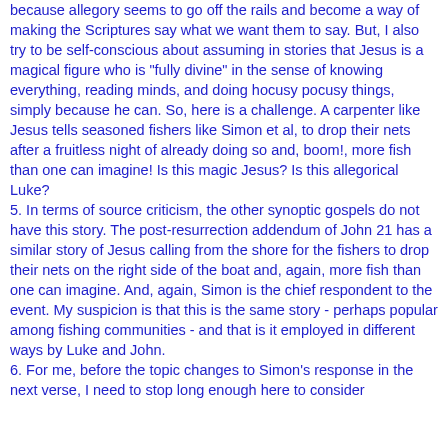because allegory seems to go off the rails and become a way of making the Scriptures say what we want them to say. But, I also try to be self-conscious about assuming in stories that Jesus is a magical figure who is "fully divine" in the sense of knowing everything, reading minds, and doing hocusy pocusy things, simply because he can. So, here is a challenge. A carpenter like Jesus tells seasoned fishers like Simon et al, to drop their nets after a fruitless night of already doing so and, boom!, more fish than one can imagine! Is this magic Jesus? Is this allegorical Luke?
5. In terms of source criticism, the other synoptic gospels do not have this story. The post-resurrection addendum of John 21 has a similar story of Jesus calling from the shore for the fishers to drop their nets on the right side of the boat and, again, more fish than one can imagine. And, again, Simon is the chief respondent to the event. My suspicion is that this is the same story - perhaps popular among fishing communities - and that is it employed in different ways by Luke and John.
6. For me, before the topic changes to Simon's response in the next verse, I need to stop long enough here to consider how all it seems like his sharing? John is our this